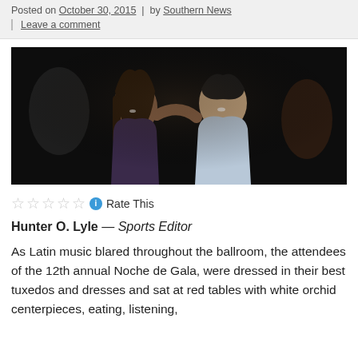Posted on October 30, 2015 | by Southern News | Leave a comment
[Figure (photo): Two young people smiling and facing each other at a dark event venue, a woman with long dark hair and a man in a light blue shirt.]
☆☆☆☆☆ ⓘ Rate This
Hunter O. Lyle — Sports Editor
As Latin music blared throughout the ballroom, the attendees of the 12th annual Noche de Gala, were dressed in their best tuxedos and dresses and sat at red tables with white orchid centerpieces, eating, listening,